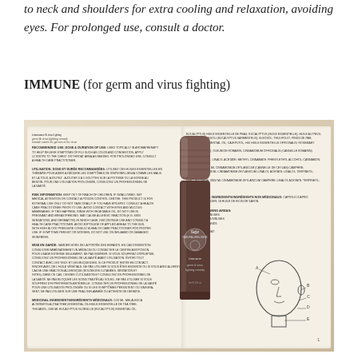to neck and shoulders for extra cooling and relaxation, avoiding eyes. For prolonged use, consult a doctor.
IMMUNE (for germ and virus fighting)
[Figure (photo): Photo of an open book/product insert showing immune remedy instructions in English and French, with a Saje Natural Wellness immune germ & virus fighting remedy stick product placed on top of the open pages, alongside a diagram of a human head showing application points.]